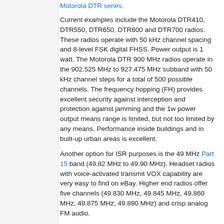Motorola DTR series.
Current examples include the Motorola DTR410, DTR550, DTR650, DTR600 and DTR700 radios. These radios operate with 50 kHz channel spacing and 8-level FSK digital FHSS. Power output is 1 watt. The Motorola DTR 900 MHz radios operate in the 902.525 MHz to 927.475 MHz subband with 50 kHz channel steps for a total of 500 possible channels. The frequency hopping (FH) provides excellent security against interception and protection against jamming and the 1w power output means range is limited, but not too limited by any means. Performance inside buildings and in built-up urban areas is excellent.
Another option for ISR purposes is the 49 MHz Part 15 band (49.82 MHz to 49.90 MHz). Headset radios with voice-activated transmit VOX capability are very easy to find on eBay. Higher end radios offer five channels (49.830 MHz, 49.845 MHz, 49.860 MHz, 49.875 MHz, 49.890 MHz) and crisp analog FM audio.